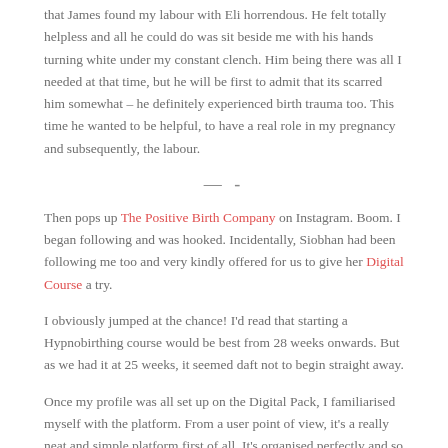that James found my labour with Eli horrendous. He felt totally helpless and all he could do was sit beside me with his hands turning white under my constant clench. Him being there was all I needed at that time, but he will be first to admit that its scarred him somewhat – he definitely experienced birth trauma too. This time he wanted to be helpful, to have a real role in my pregnancy and subsequently, the labour.
— -
Then pops up The Positive Birth Company on Instagram. Boom. I began following and was hooked. Incidentally, Siobhan had been following me too and very kindly offered for us to give her Digital Course a try.
I obviously jumped at the chance! I'd read that starting a Hypnobirthing course would be best from 28 weeks onwards. But as we had it at 25 weeks, it seemed daft not to begin straight away.
Once my profile was all set up on the Digital Pack, I familiarised myself with the platform. From a user point of view, it's a really neat and simple platform first of all. It's organised perfectly and so easy